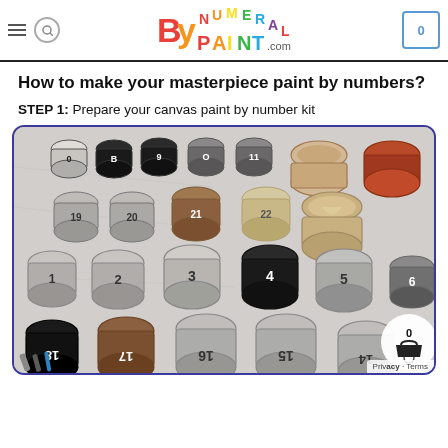ByNumeralPaint.com — navigation header with logo, hamburger menu, search, and cart icon showing 0
How to make your masterpiece paint by numbers?
STEP 1: Prepare your canvas paint by number kit
[Figure (photo): A photo of multiple numbered paint pots/jars arranged on a canvas sheet with numbered sections. Pots are labeled with numbers 1–22 and 14–18. Some pots are open showing paint colors including grey, brown, beige, and orange/rust. A floating cart button with '0' is visible in the bottom right corner.]